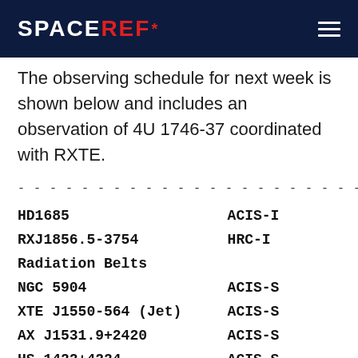SPACEREF*
The observing schedule for next week is shown below and includes an observation of 4U 1746-37 coordinated with RXTE.
| Target | Instrument |
| --- | --- |
| HD1685 | ACIS-I |
| RXJ1856.5-3754 | HRC-I |
| Radiation Belts |  |
| NGC 5904 | ACIS-S |
| XTE J1550-564 (Jet) | ACIS-S |
| AX J1531.9+2420 | ACIS-S |
| HS 1422+4224 | ACIS-S |